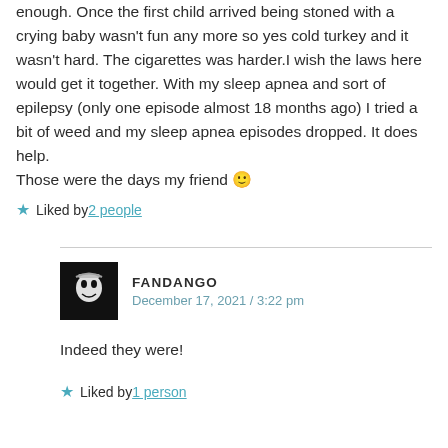enough. Once the first child arrived being stoned with a crying baby wasn't fun any more so yes cold turkey and it wasn't hard. The cigarettes was harder.I wish the laws here would get it together. With my sleep apnea and sort of epilepsy (only one episode almost 18 months ago) I tried a bit of weed and my sleep apnea episodes dropped. It does help.
Those were the days my friend 🙂
★ Liked by 2 people
FANDANGO
December 17, 2021 / 3:22 pm
Indeed they were!
★ Liked by 1 person